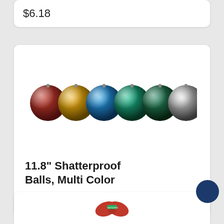$6.18
[Figure (photo): Six large shatterproof ornament balls in multiple colors: red/dark, gold, blue, teal/green, green, and silver, arranged in a row on a white background.]
11.8" Shatterproof Balls, Multi Color
$178.08
[Figure (photo): Partial view of a product card showing a red bow or ribbon with a green label/tag, partially cut off at bottom of page.]